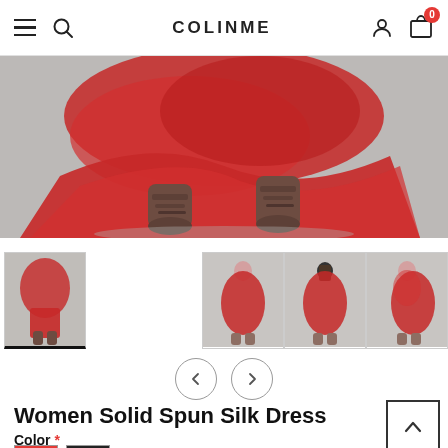COLINME
[Figure (photo): Close-up photo of a woman wearing a flowing red dress and brown leather boots, shot from below the waist on a grey background.]
[Figure (photo): Thumbnail 1: Woman in red dress, active/selected thumbnail with underline.]
[Figure (photo): Thumbnail 2: Woman in red dress, front view full length.]
[Figure (photo): Thumbnail 3: Woman in red dress, back view full length.]
[Figure (photo): Thumbnail 4: Woman in red dress, side/partial view.]
Women Solid Spun Silk Dress
Color *
Red (swatch), Black (swatch)